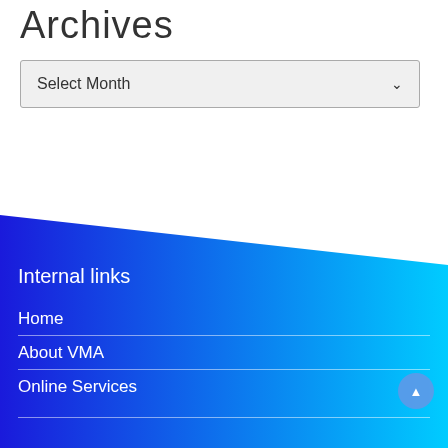Archives
Select Month
Internal links
Home
About VMA
Online Services